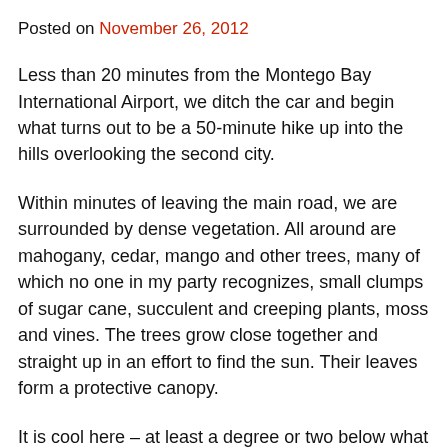Posted on November 26, 2012
Less than 20 minutes from the Montego Bay International Airport, we ditch the car and begin what turns out to be a 50-minute hike up into the hills overlooking the second city.
Within minutes of leaving the main road, we are surrounded by dense vegetation. All around are mahogany, cedar, mango and other trees, many of which no one in my party recognizes, small clumps of sugar cane, succulent and creeping plants, moss and vines. The trees grow close together and straight up in an effort to find the sun. Their leaves form a protective canopy.
It is cool here – at least a degree or two below what it is in town. The air is fresh and clean.
We leave the feeder road and take a path that is wide enough for one person, or a donkey, the only mode of transporting heavy